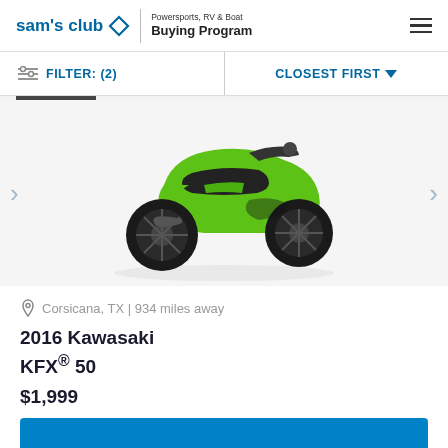sam's club | Powersports, RV & Boat Buying Program
FILTER: (2) | CLOSEST FIRST
[Figure (photo): Green and black 2016 Kawasaki KFX 50 ATV (youth quad) shown from the side on white background]
Corsicana, TX | 934 miles away
2016 Kawasaki KFX® 50
$1,999